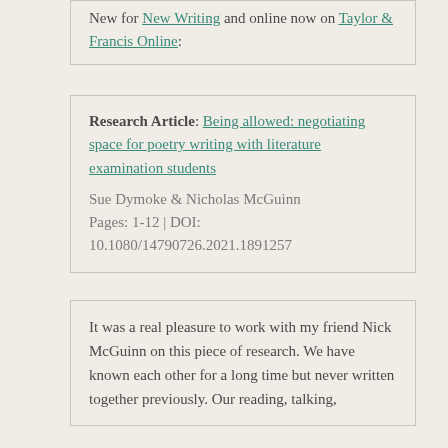New for New Writing and online now on Taylor & Francis Online:
Research Article: Being allowed: negotiating space for poetry writing with literature examination students
Sue Dymoke & Nicholas McGuinn
Pages: 1-12 | DOI: 10.1080/14790726.2021.1891257
It was a real pleasure to work with my friend Nick McGuinn on this piece of research. We have known each other for a long time but never written together previously. Our reading, talking,